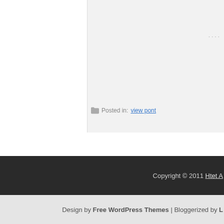...
Posted in: view pont
0 COMMENTS:
POST A COMMENT
Enter Comment
Copyright © 2011 Htet A
Design by Free WordPress Themes | Bloggerized by L